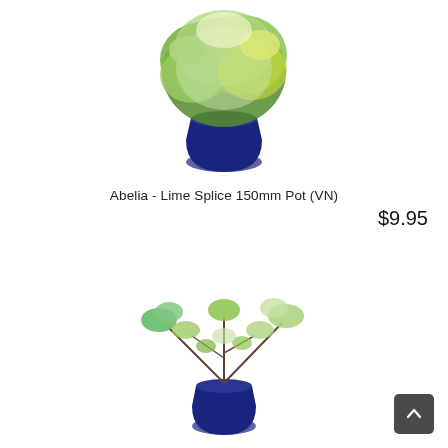[Figure (photo): Abelia Lime Splice plant in a blue pot with lush green and yellow-green foliage, photographed on white background]
Abelia - Lime Splice 150mm Pot (VN)
$9.95
[Figure (photo): Abelia plant in a blue pot with sparse green foliage and spreading branches, photographed on white background]